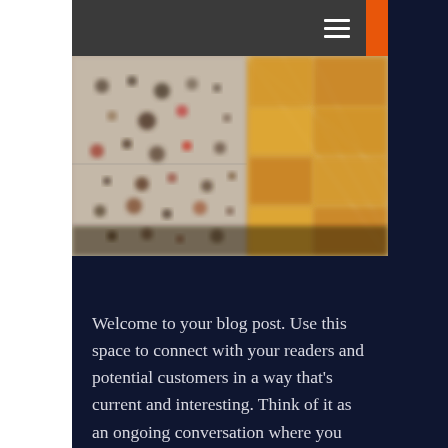[Figure (screenshot): Navigation header bar with dark gray background and hamburger menu icon (three horizontal white lines) on the right side. Orange accent block visible in top-right corner.]
[Figure (photo): Blurry overhead photo of what appears to be a spice market or food display, showing various small items (possibly spices, dried fruits, or candies) arranged on the left half, and golden/amber colored items in compartmentalized containers on the right half.]
Welcome to your blog post. Use this space to connect with your readers and potential customers in a way that's current and interesting. Think of it as an ongoing conversation where you